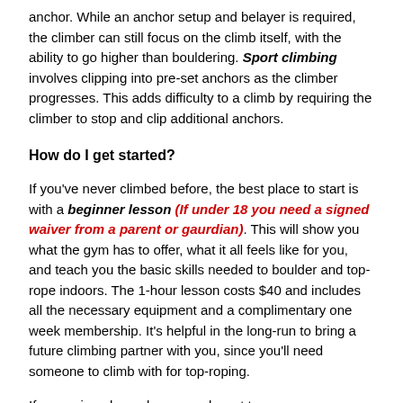anchor. While an anchor setup and belayer is required, the climber can still focus on the climb itself, with the ability to go higher than bouldering. Sport climbing involves clipping into pre-set anchors as the climber progresses. This adds difficulty to a climb by requiring the climber to stop and clip additional anchors.
How do I get started?
If you've never climbed before, the best place to start is with a beginner lesson (If under 18 you need a signed waiver from a parent or gaurdian). This will show you what the gym has to offer, what it all feels like for you, and teach you the basic skills needed to boulder and top-rope indoors. The 1-hour lesson costs $40 and includes all the necessary equipment and a complimentary one week membership. It's helpful in the long-run to bring a future climbing partner with you, since you'll need someone to climb with for top-roping.
If you enjoyed your lesson and want to come more, you can buy day passes and rentals on a one-time basis, or buy 10-passes, which have